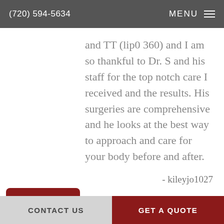(720) 594-5634  MENU
and TT (lip0 360) and I am so thankful to Dr. S and his staff for the top notch care I received and the results. His surgeries are comprehensive and he looks at the best way to approach and care for your body before and after.
- kileyjo1027
[Figure (illustration): Chat/FAQ widget icon showing two speech bubbles with a question mark, dark red background]
[Figure (illustration): Accessibility icon - wheelchair symbol in dark red circle]
What an incredible procedure!!!
Colorado Plastic
CONTACT US  GET A QUOTE